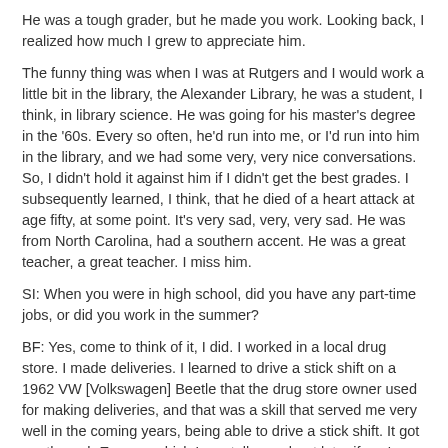He was a tough grader, but he made you work. Looking back, I realized how much I grew to appreciate him.
The funny thing was when I was at Rutgers and I would work a little bit in the library, the Alexander Library, he was a student, I think, in library science. He was going for his master's degree in the '60s. Every so often, he'd run into me, or I'd run into him in the library, and we had some very, very nice conversations. So, I didn't hold it against him if I didn't get the best grades. I subsequently learned, I think, that he died of a heart attack at age fifty, at some point. It's very sad, very, very sad. He was from North Carolina, had a southern accent. He was a great teacher, a great teacher. I miss him.
SI: When you were in high school, did you have any part-time jobs, or did you work in the summer?
BF: Yes, come to think of it, I did. I worked in a local drug store. I made deliveries. I learned to drive a stick shift on a 1962 VW [Volkswagen] Beetle that the drug store owner used for making deliveries, and that was a skill that served me very well in the coming years, being able to drive a stick shift. It got me through Europe, which I can tell you about later if you're interested. Yes, I did that for a few years.